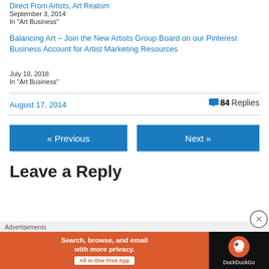Direct From Artists, Art Realism
September 3, 2014
In "Art Business"
Balancing Art – Join the New Artists Group Board on our Pinterest Business Account for Artist Marketing Resources
July 10, 2018
In "Art Business"
August 17, 2014
84 Replies
« Previous
Next »
Leave a Reply
Advertisements
[Figure (other): DuckDuckGo advertisement banner: orange section with text 'Search, browse, and email with more privacy. All in One Free App' and dark section with DuckDuckGo logo and brand name.]